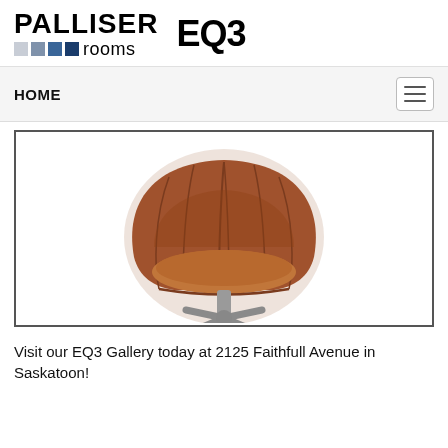[Figure (logo): Palliser rooms logo with colored squares and EQ3 logo side by side]
HOME
[Figure (photo): Brown leather egg-shaped swivel chair on a brushed metal star base, shown on white background inside a bordered frame]
Visit our EQ3 Gallery today at 2125 Faithfull Avenue in Saskatoon!